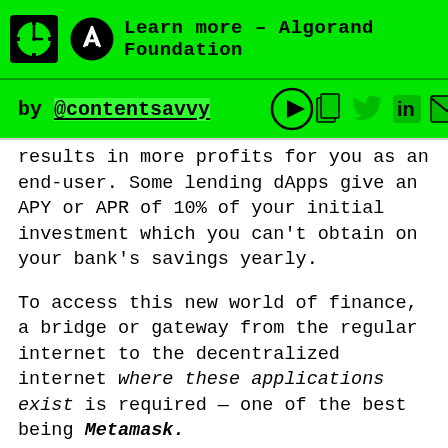Learn more – Algorand Foundation
by @contentsavvy
results in more profits for you as an end-user. Some lending dApps give an APY or APR of 10% of your initial investment which you can't obtain on your bank's savings yearly.
To access this new world of finance, a bridge or gateway from the regular internet to the decentralized internet where these applications exist is required — one of the best being Metamask.
What is Metamask? And, how do you initiate this process on Metamask? Well, I'll define Metamask and